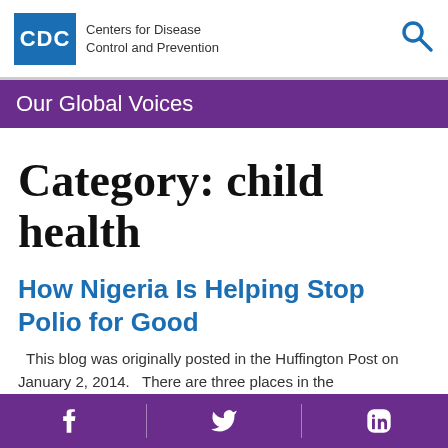CDC Centers for Disease Control and Prevention
Our Global Voices
Category: child health
How Nigeria Is Helping Stop Polio for Good
This blog was originally posted in the Huffington Post on January 2, 2014.   There are three places in the
Facebook | Twitter | LinkedIn